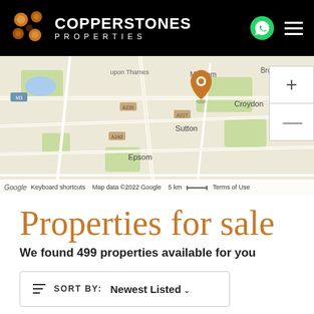COPPERSTONES PROPERTIES
[Figure (map): Google Map showing south London area including Mitcham, Croydon, Sutton, Epsom with a location pin marker. Map data ©2022 Google. Scale: 5 km.]
Properties for sale
We found 499 properties available for you
SORT BY: Newest Listed